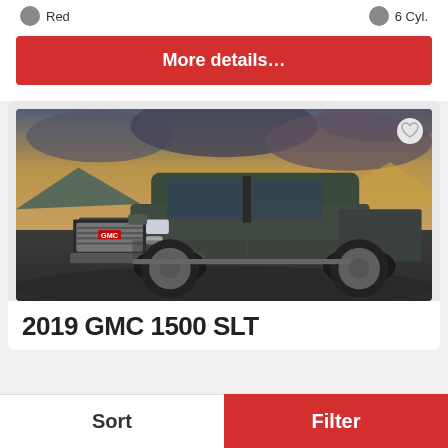Red   6 Cyl.
More details…
[Figure (photo): 2019 GMC 1500 SLT dark green pickup truck parked on a rocky overlook with a dramatic cloudy sky and mountains in the background]
2019 GMC 1500 SLT
Sort
Filter